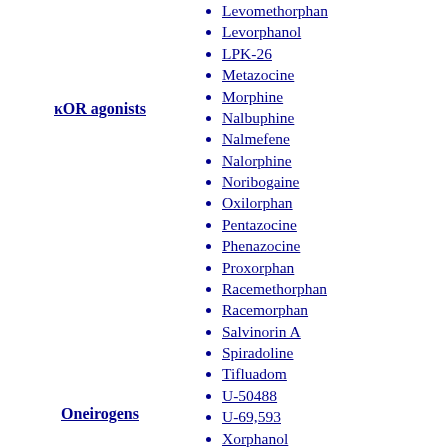κOR agonists
Levomethorphan
Levorphanol
LPK-26
Metazocine
Morphine
Nalbuphine
Nalmefene
Nalorphine
Noribogaine
Oxilorphan
Pentazocine
Phenazocine
Proxorphan
Racemethorphan
Racemorphan
Salvinorin A
Spiradoline
Tifluadom
U-50488
U-69,593
Xorphanol
Oneirogens
Calea zacatechichi
Silene capensis
Galantamine